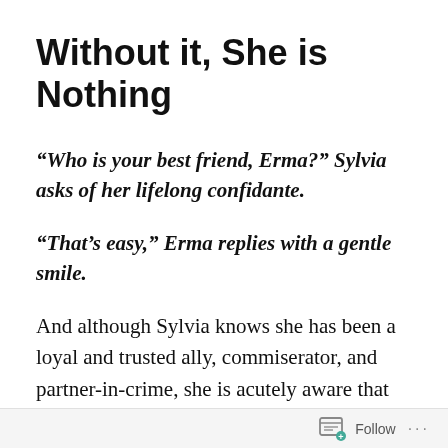Without it, She is Nothing
“Who is your best friend, Erma?” Sylvia asks of her lifelong confidante.
“That’s easy,” Erma replies with a gentle smile.
And although Sylvia knows she has been a loyal and trusted ally, commiserator, and partner-in-crime, she is acutely aware that she cannot replace the true creator of enduring connections. Sylvia sighs with an assured and
Follow ...